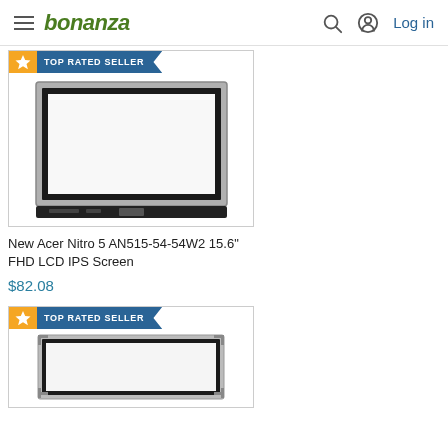bonanza — Log in
[Figure (screenshot): Bonanza e-commerce website header with hamburger menu, bonanza logo, search icon, user icon, and Log in link]
[Figure (photo): Product listing photo of a laptop LCD screen panel (Acer Nitro 5 AN515-54-54W2) with silver/black bezel shown against white background. Card has partial blue TOP RATED SELLER badge at top.]
New Acer Nitro 5 AN515-54-54W2 15.6" FHD LCD IPS Screen
$82.08
[Figure (photo): Second product listing card showing a laptop LCD screen panel with thin black/silver frame, TOP RATED SELLER badge visible at top of card. Bottom of image cut off.]